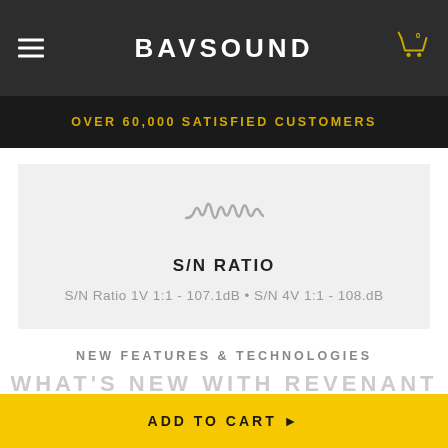BAVSOUND
OVER 60,000 SATISFIED CUSTOMERS
[Figure (illustration): Waveform/signal icon in gray]
S/N RATIO
S/N Ratio 1V 1:1 - 107.1dB • S/N 4V 1:1 - 108.dB
NEW FEATURES & TECHNOLOGIES
WHAT'S NEW WITH REVENANT PRO
ADD TO CART ▶